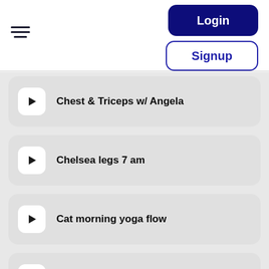[Figure (screenshot): Hamburger menu icon (three horizontal lines)]
Login
Signup
Chest & Triceps w/ Angela
Chelsea legs 7 am
Cat morning yoga flow
Chelsea back
Alvona 5pm back 2/2/22